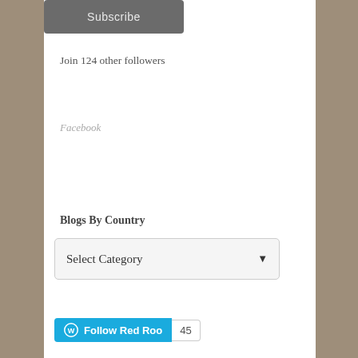[Figure (screenshot): Subscribe button - dark gray rounded rectangle with white text 'Subscribe']
Join 124 other followers
Facebook
Blogs By Country
[Figure (screenshot): Select Category dropdown box with arrow]
[Figure (screenshot): Follow Red Roo WordPress follow button in blue with count 45]